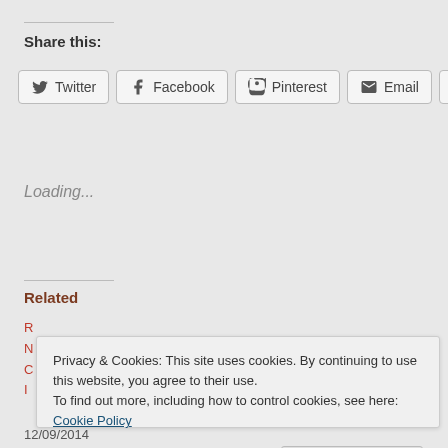Share this:
[Figure (screenshot): Social share buttons: Twitter, Facebook, Pinterest, Email, Print]
Loading...
Related
Privacy & Cookies: This site uses cookies. By continuing to use this website, you agree to their use.
To find out more, including how to control cookies, see here: Cookie Policy
Close and accept
12/09/2014